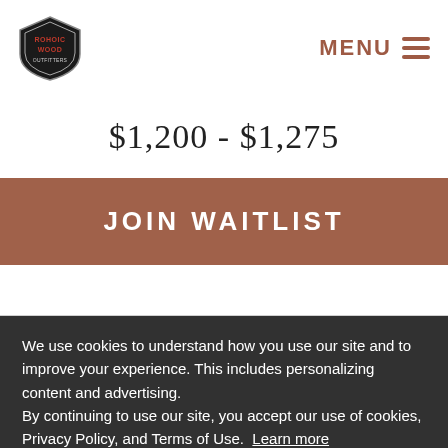[Figure (logo): Rohoic Wood Outfitters shield-shaped logo with wood grain design]
MENU ≡
$1,200 - $1,275
JOIN WAITLIST
We use cookies to understand how you use our site and to improve your experience. This includes personalizing content and advertising.
By continuing to use our site, you accept our use of cookies, Privacy Policy, and Terms of Use. Learn more
I accept